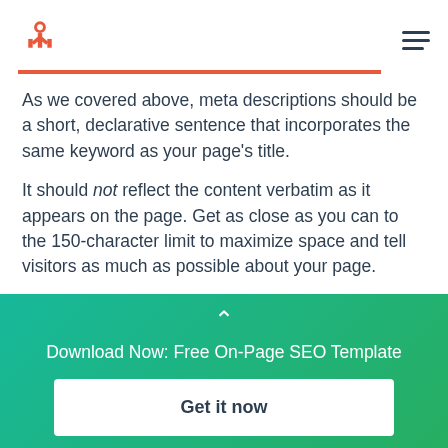HubSpot logo and navigation menu
As we covered above, meta descriptions should be a short, declarative sentence that incorporates the same keyword as your page's title.
It should not reflect the content verbatim as it appears on the page. Get as close as you can to the 150-character limit to maximize space and tell visitors as much as possible about your page.
Download Now: Free On-Page SEO Template
Get it now